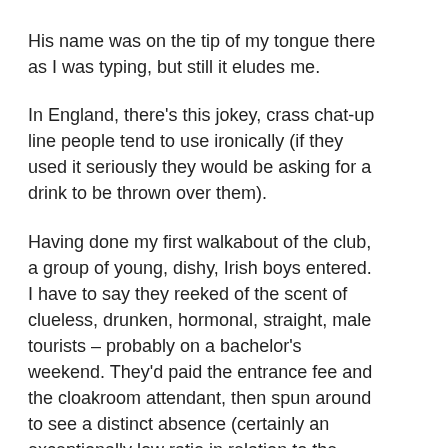His name was on the tip of my tongue there as I was typing, but still it eludes me.
In England, there's this jokey, crass chat-up line people tend to use ironically (if they used it seriously they would be asking for a drink to be thrown over them).
Having done my first walkabout of the club, a group of young, dishy, Irish boys entered. I have to say they reeked of the scent of clueless, drunken, hormonal, straight, male tourists – probably on a bachelor's weekend. They'd paid the entrance fee and the cloakroom attendant, then spun around to see a distinct absence (certainly an exceptionally low ratio in relation to the male gender) of women.
The tiniest guy cut his losses quick when he saw me and